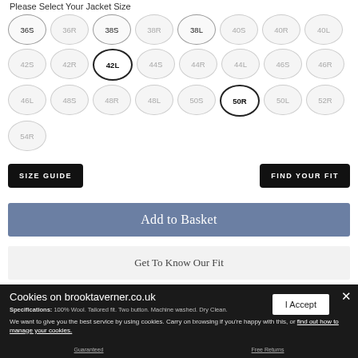Please Select Your Jacket Size
36S, 36R, 38S, 38R, 38L, 40S, 40R, 40L, 42S, 42R, 42L, 44S, 44R, 44L, 46S, 46R, 46L, 48S, 48R, 48L, 50S, 50R, 50L, 52R, 54R
SIZE GUIDE
FIND YOUR FIT
Add to Basket
Get To Know Our Fit
Cookies on brooktaverner.co.uk
Specifications: 100% Wool. Tailored fit. Two button. Machine washed. Dry Clean.
We want to give you the best service by using cookies. Carry on browsing if you're happy with this, or find out how to manage your cookies.
I Accept
Guaranteed
Free Returns